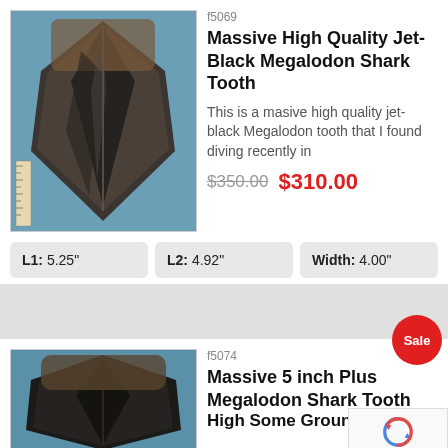f5069
Massive High Quality Jet-Black Megalodon Shark Tooth
This is a masive high quality jet-black Megalodon tooth that I found diving recently in
$350.00  $310.00
| L1 | L2 | Width |
| --- | --- | --- |
| 5.25" | 4.92" | 4.00" |
[Figure (photo): Megalodon shark tooth on blue fabric background with ruler]
Sale
f5074
Massive 5 inch Plus Megalodon Shark Tooth High Some Grounds
[Figure (photo): Second megalodon shark tooth on blue fabric background]